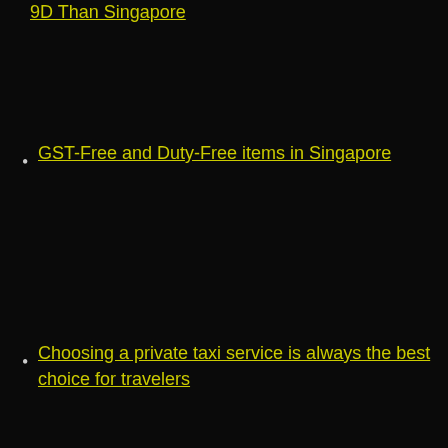9D Than Singapore
GST-Free and Duty-Free items in Singapore
Choosing a private taxi service is always the best choice for travelers